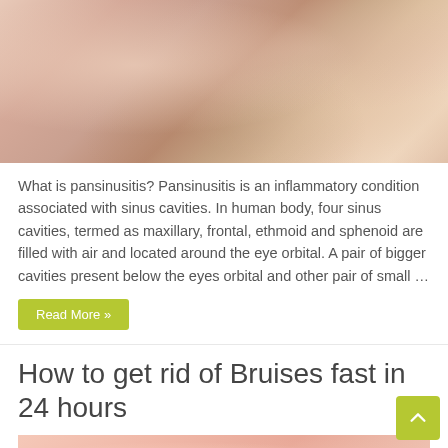[Figure (photo): Blurred medical image showing skin/sinus anatomy in warm pinkish-beige tones]
What is pansinusitis? Pansinusitis is an inflammatory condition associated with sinus cavities. In human body, four sinus cavities, termed as maxillary, frontal, ethmoid and sphenoid are filled with air and located around the eye orbital. A pair of bigger cavities present below the eyes orbital and other pair of small …
Read More »
How to get rid of Bruises fast in 24 hours
[Figure (photo): Blurred pinkish-peach image showing skin with bruising, partially visible at bottom of page]